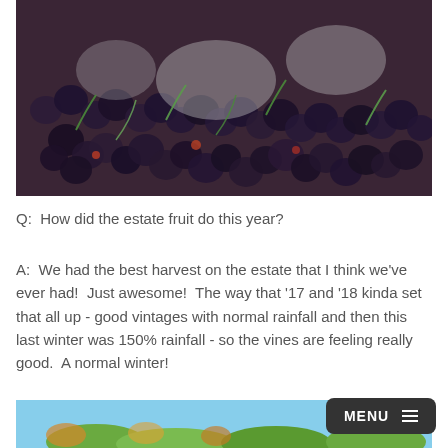[Figure (photo): Close-up aerial view of dark purple/black wine grapes during harvest, crushed and mixed with stems, showing the texture of the grape must with some grey/white chalky material visible]
Q:  How did the estate fruit do this year?
A:  We had the best harvest on the estate that I think we've ever had!  Just awesome!  The way that '17 and '18 kinda set that all up - good vintages with normal rainfall and then this last winter was 150% rainfall - so the vines are feeling really good.  A normal winter!
[Figure (photo): Partial bottom image showing outdoor scene with blue sky and green foliage/vineyard]
MENU